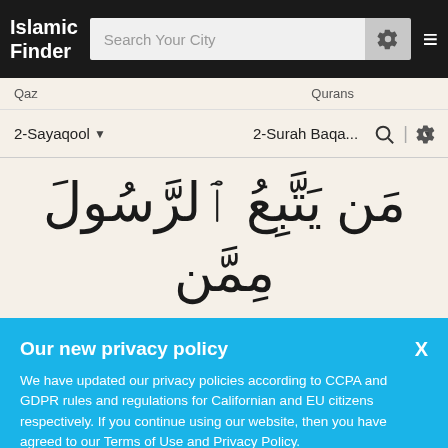Islamic Finder — Search Your City
Qaz   Qurans
2-Sayaqool ▾   2-Surah Baqa...
[Figure (screenshot): Arabic Quran text: مَن يَتَّبِعُ ٱلرَّسُولَ مِمَّن]
Our new privacy policy
We have updated our privacy policies according to CCPA and GDPR rules and regulations for Californian and EU citizens respectively. If you continue using our website, then you have agreed to our Terms of Use and Privacy Policy.
Got it   or   More Info